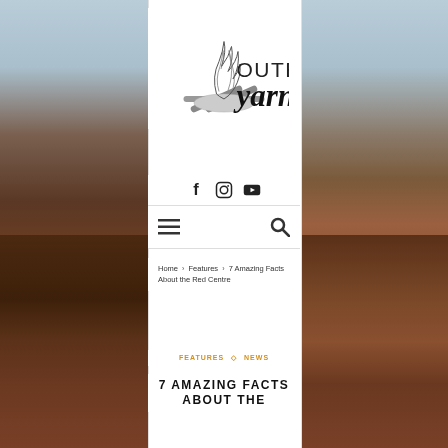[Figure (logo): Outback Yarns logo with campfire illustration and stylized text]
[Figure (infographic): Social media icons: Facebook, Instagram, YouTube]
[Figure (infographic): Navigation bar with hamburger menu icon and search icon]
Home > Features > 7 Amazing Facts About the Red Centre
FEATURES ◇ NEWS
7 AMAZING FACTS ABOUT THE